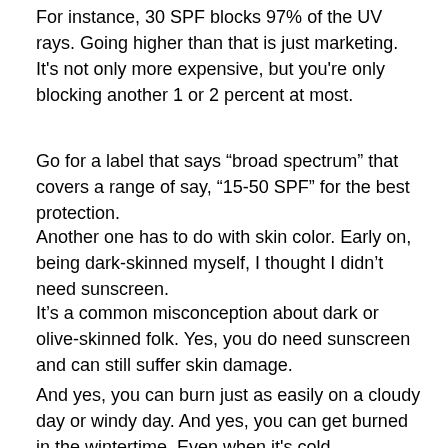For instance, 30 SPF blocks 97% of the UV rays.  Going higher than that is just marketing.  It's not only more expensive, but you're only blocking another 1 or 2 percent at most.
Go for a label that says “broad spectrum” that covers a range of say, “15-50 SPF” for the best protection.
Another one has to do with skin color.  Early on, being dark-skinned myself,  I thought I didn’t need sunscreen.
It’s a common misconception about dark or olive-skinned folk.  Yes, you do need sunscreen and can still suffer skin damage.
And yes, you can burn just as easily on a cloudy day or windy day.  And yes, you can get burned in the wintertime.  Even when it’s cold.